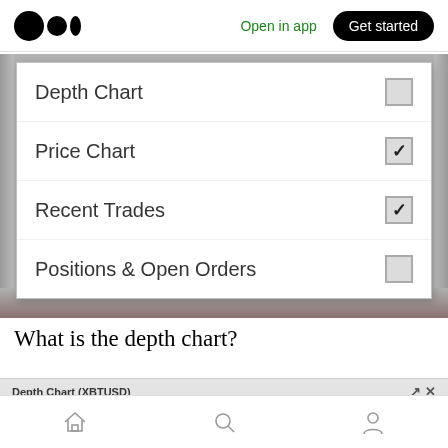Open in app  Get started
[Figure (screenshot): Dropdown menu showing checkboxes for: Depth Chart (unchecked), Price Chart (checked), Recent Trades (checked), Positions & Open Orders (unchecked)]
What is the depth chart?
[Figure (screenshot): Partial view of Depth Chart (XBTUSD) panel with expand and close icons, showing beginning of chart area]